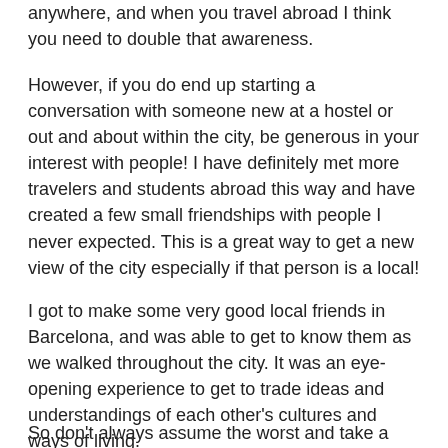anywhere, and when you travel abroad I think you need to double that awareness.
However, if you do end up starting a conversation with someone new at a hostel or out and about within the city, be generous in your interest with people! I have definitely met more travelers and students abroad this way and have created a few small friendships with people I never expected. This is a great way to get a new view of the city especially if that person is a local!
I got to make some very good local friends in Barcelona, and was able to get to know them as we walked throughout the city. It was an eye-opening experience to get to trade ideas and understandings of each other's cultures and ways of living.
So don't always assume the worst and take a